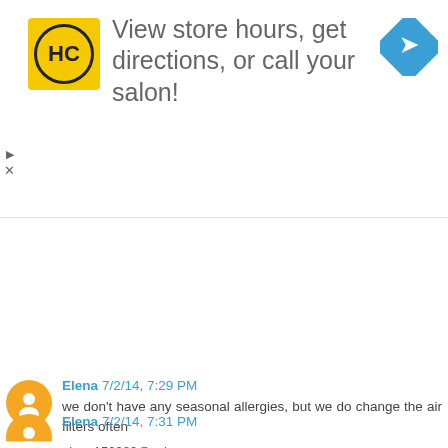[Figure (logo): Advertisement banner with HC logo, text 'View store hours, get directions, or call your salon!', and a navigation arrow icon]
replace filters in our cars. I'm going to look into this for my truck. :-). I use essential oils to treat my allergies. I'm the only person in my house who suffers. We also replace are filters in our house every month.
Reply
Elena 7/2/14, 7:29 PM
we don't have any seasonal allergies, but we do change the air filters often
elena150980@yahoo.com
Reply
Elena 7/2/14, 7:31 PM